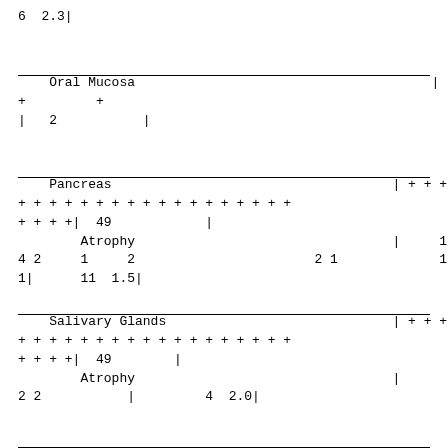6  2.3|
| Oral Mucosa |  |  |  |  |  |  |  |  |  |  |  |  |  |  | | |  |  |
| + |  | + |  |  |  |  |  |  |  |  |  |  |  |  |  |  |  |
| | | 2 |  |  | | |  |  |  |  |  |  |  |  |  |  |  |  |  |
| Pancreas |  |  |  |  |  |  |  |  |  |  |  |  |  | | | + | + | + |
| + | + | + | + | + | + | + | + | + | + | + | + | + | + | + | + | + | + |
| + | + | + | +| | 49 |  |  | | |  |  |  |  |  |  |  |  |  |  |
|  | Atrophy |  |  |  |  |  |  |  |  |  |  |  | | |  | 1 |  |  |
| 4 | 2 |  | 1 |  | 2 |  |  |  |  |  |  | 2 | 1 |  |  |  | 1 |
| 1| |  |  | 11 | 1.5| |  |  |  |  |  |  |  |  |  |  |  |  |  |
| Salivary Glands |  |  |  |  |  |  |  |  |  |  |  |  |  | | | + | + | + |
| + | + | + | + | + | + | + | + | + | + | + | + | + | + | + | + | + | + |
| + | + | + | +| | 49 |  |  | | |  |  |  |  |  |  |  |  |  |  |
|  | Atrophy |  |  |  |  |  |  |  |  |  |  |  |  | | |  |  |  |
| 2 | 2 |  |  | | |  |  | 4 | 2.0| |  |  |  |  |  |  |  |  |  |